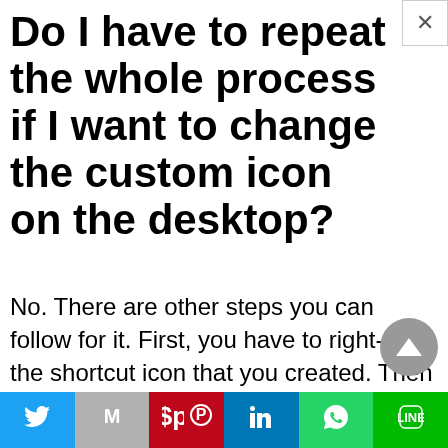Do I have to repeat the whole process if I want to change the custom icon on the desktop?
No. There are other steps you can follow for it. First, you have to right-click the shortcut icon that you created. Then you will find an option of properties. Click on that. A dialog box will appear. Go to the web document tab and select the change icon tab. It will mostly be present at the bottom right of the box. From there on, you can choose
[Figure (infographic): Social media share bar with Twitter, Gmail/Email, Pinterest, LinkedIn, WhatsApp, and LINE icons]
[Figure (other): Close (X) button in top right corner]
[Figure (other): Scroll-to-top triangle button on right side]